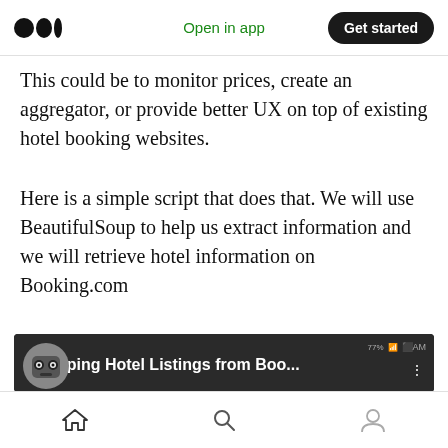Medium | Open in app | Get started
This could be to monitor prices, create an aggregator, or provide better UX on top of existing hotel booking websites.
Here is a simple script that does that. We will use BeautifulSoup to help us extract information and we will retrieve hotel information on Booking.com
[Figure (screenshot): Screenshot of a video titled 'Scraping Hotel Listings from Boo...' showing a robot/bot icon and code editor with Python scraping code for Booking.com]
Home | Search | Profile